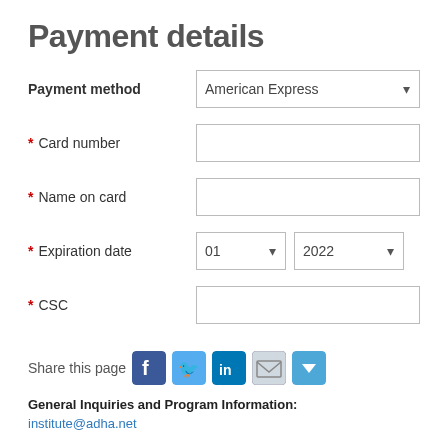Payment details
Payment method  American Express
* Card number
* Name on card
* Expiration date  01  2022
* CSC
Share this page
General Inquiries and Program Information:
institute@adha.net